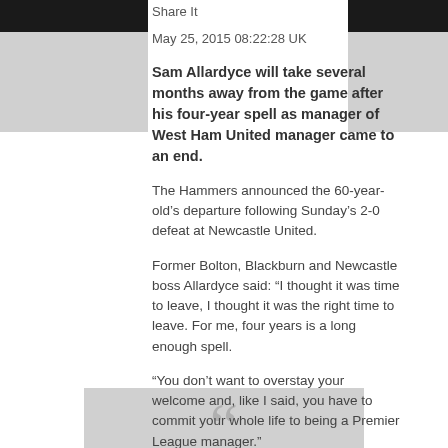Share It
May 25, 2015 08:22:28 UK
Sam Allardyce will take several months away from the game after his four-year spell as manager of West Ham United manager came to an end.
The Hammers announced the 60-year-old's departure following Sunday's 2-0 defeat at Newcastle United.
Former Bolton, Blackburn and Newcastle boss Allardyce said: “I thought it was time to leave, I thought it was the right time to leave. For me, four years is a long enough spell.
“You don’t want to overstay your welcome and, like I said, you have to commit your whole life to being a Premier League manager.”
[Figure (illustration): Decorative quotation mark graphic in grey at bottom of page]